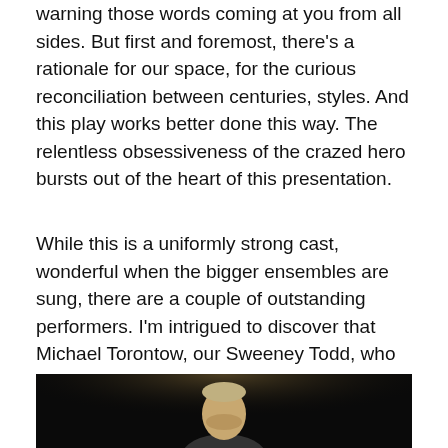warning those words coming at you from all sides. But first and foremost, there's a rationale for our space, for the curious reconciliation between centuries, styles. And this play works better done this way. The relentless obsessiveness of the crazed hero bursts out of the heart of this presentation.
While this is a uniformly strong cast, wonderful when the bigger ensembles are sung, there are a couple of outstanding performers. I'm intrigued to discover that Michael Torontow, our Sweeney Todd, who has directed several shows for TIFT, has now been named their Artistic Director.
[Figure (photo): A performer on a dark stage, lit from above, showing a person's head and shoulders against a black background.]